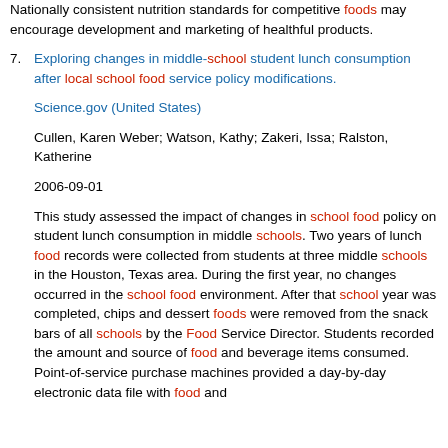Nationally consistent nutrition standards for competitive foods may encourage development and marketing of healthful products.
7. Exploring changes in middle-school student lunch consumption after local school food service policy modifications.
Science.gov (United States)
Cullen, Karen Weber; Watson, Kathy; Zakeri, Issa; Ralston, Katherine
2006-09-01
This study assessed the impact of changes in school food policy on student lunch consumption in middle schools. Two years of lunch food records were collected from students at three middle schools in the Houston, Texas area. During the first year, no changes occurred in the school food environment. After that school year was completed, chips and dessert foods were removed from the snack bars of all schools by the Food Service Director. Students recorded the amount and source of food and beverage items consumed. Point-of-service purchase machines provided a day-by-day electronic data file with food and